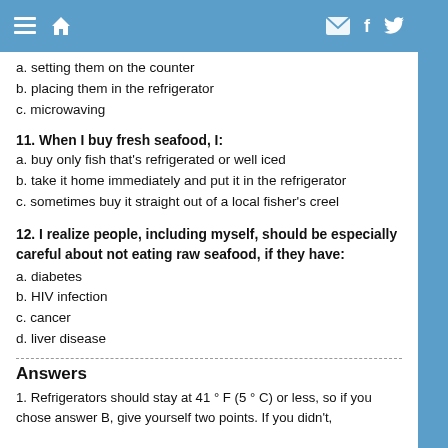≡ 🏠 ✉ f t
a. setting them on the counter
b. placing them in the refrigerator
c. microwaving
11. When I buy fresh seafood, I:
a. buy only fish that's refrigerated or well iced
b. take it home immediately and put it in the refrigerator
c. sometimes buy it straight out of a local fisher's creel
12. I realize people, including myself, should be especially careful about not eating raw seafood, if they have:
a. diabetes
b. HIV infection
c. cancer
d. liver disease
Answers
1. Refrigerators should stay at 41 ° F (5 ° C) or less, so if you chose answer B, give yourself two points. If you didn't,